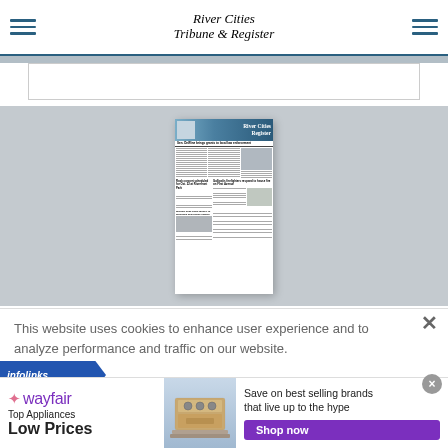River Cities Tribune & Register
[Figure (screenshot): Newspaper front page thumbnail for River Cities Register showing headlines: 'Sen. DeWine brings grants to local law enforcement', 'Rock concert scheduled for Oct. 22 at Riverfront Park', 'Gallipolis firefighters respond to house fire on First Avenue', 'Millport uses grant money to purchase new police station']
This website uses cookies to enhance user experience and to analyze performance and traffic on our website.
[Figure (infographic): Wayfair advertisement banner: Top Appliances Low Prices - Save on best selling brands that live up to the hype - Shop now button]
infolinks